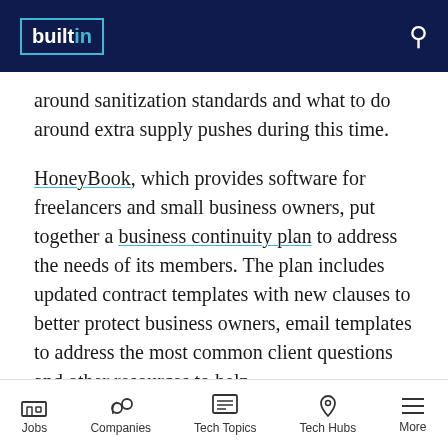builtin
around sanitization standards and what to do around extra supply pushes during this time.
HoneyBook, which provides software for freelancers and small business owners, put together a business continuity plan to address the needs of its members. The plan includes updated contract templates with new clauses to better protect business owners, email templates to address the most common client questions and other resources to help
Jobs | Companies | Tech Topics | Tech Hubs | More